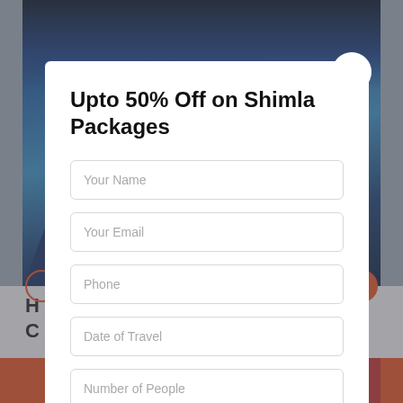[Figure (screenshot): Background showing a mountain/landscape photo with blue sky and mountains, partially covered by a modal popup overlay]
Upto 50% Off on Shimla Packages
Your Name
Your Email
Phone
Date of Travel
Number of People
Message